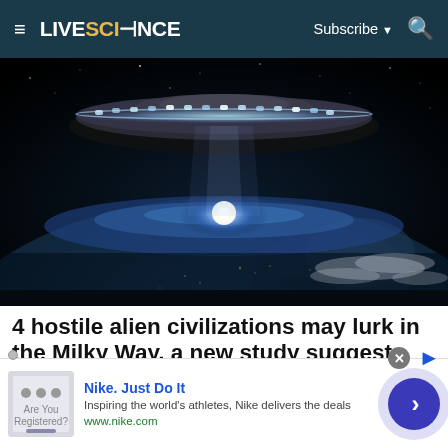≡  LIVESCIENCE  Subscribe ▼  🔍
[Figure (illustration): Digital illustration of a large UFO/flying saucer hovering above Earth, viewed from space. The spacecraft is disc-shaped with glowing lights around its rim. Below it, Earth's surface is visible with city lights and landmasses. A bright glow emanates from between the spacecraft and Earth's horizon.]
4 hostile alien civilizations may lurk in the Milky Way, a new study suggests
New research calculates the odds that humans will
[Figure (other): Advertisement banner for Nike. Shows Nike brand logo area on left, text 'Nike. Just Do It' in blue, 'Inspiring the world's athletes, Nike delivers the deals', 'www.nike.com' in green, and a blue circular arrow button on right.]